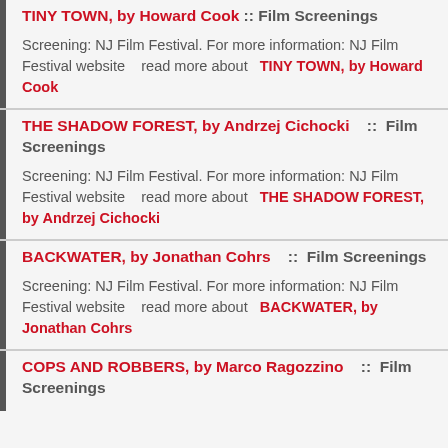TINY TOWN, by Howard Cook :: Film Screenings
Screening: NJ Film Festival. For more information: NJ Film Festival website   read more about  TINY TOWN, by Howard Cook
THE SHADOW FOREST, by Andrzej Cichocki   ::  Film Screenings
Screening: NJ Film Festival. For more information: NJ Film Festival website   read more about  THE SHADOW FOREST, by Andrzej Cichocki
BACKWATER, by Jonathan Cohrs   ::  Film Screenings
Screening: NJ Film Festival. For more information: NJ Film Festival website   read more about  BACKWATER, by Jonathan Cohrs
COPS AND ROBBERS, by Marco Ragozzino   ::  Film Screenings